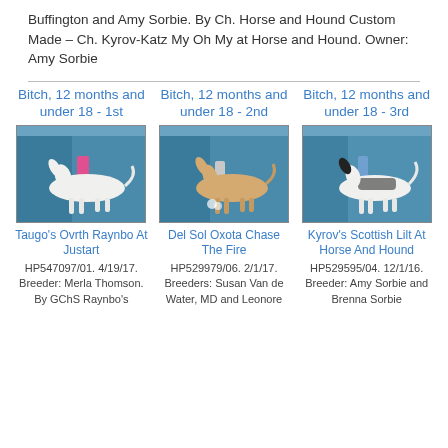Buffington and Amy Sorbie. By Ch. Horse and Hound Custom Made – Ch. Kyrov-Katz My Oh My at Horse and Hound. Owner: Amy Sorbie
Bitch, 12 months and under 18 - 1st
[Figure (photo): Dog standing at show, white borzoi, profile view]
Taugo's Ovrth Raynbo At Justart HP547097/01. 4/19/17. Breeder: Merla Thomson. By GChS Raynbo's
Bitch, 12 months and under 18 - 2nd
[Figure (photo): Dog standing at show, golden borzoi, profile view]
Del Sol Oxota Chase The Fire HP529979/06. 2/1/17. Breeders: Susan Van de Water, MD and Leonore
Bitch, 12 months and under 18 - 3rd
[Figure (photo): Dog standing at show, black and white borzoi, profile view]
Kyrov's Scottish Lilt At Horse And Hound HP529595/04. 12/1/16. Breeder: Amy Sorbie and Brenna Sorbie